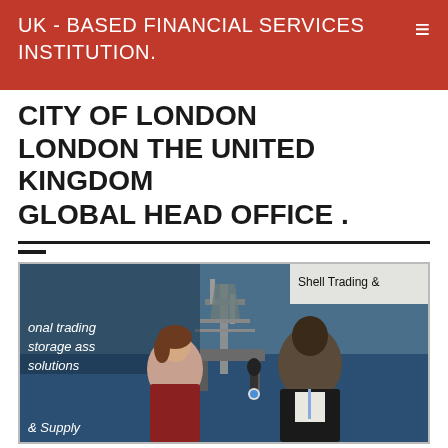UK - BASED FINANCIAL SERVICES INSTITUTION.
CITY OF LONDON
LONDON THE UNITED KINGDOM
GLOBAL HEAD OFFICE .
[Figure (photo): Two people at what appears to be a trade conference or exhibition. A woman interviewing a man with a microphone, in front of a Shell Trading & Supply backdrop showing an offshore oil rig.]